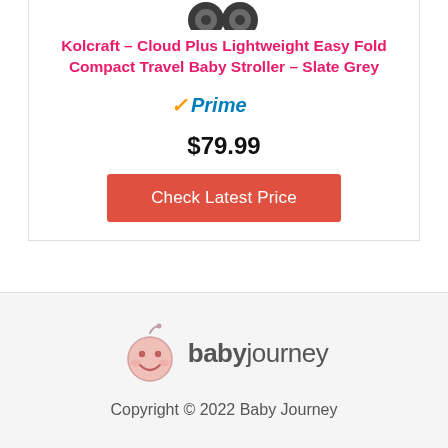[Figure (illustration): Partial view of stroller wheels at top of product card]
Kolcraft - Cloud Plus Lightweight Easy Fold Compact Travel Baby Stroller - Slate Grey
[Figure (logo): Amazon Prime logo with orange checkmark and blue Prime text]
$79.99
Check Latest Price
[Figure (logo): Baby Journey logo with cartoon baby face and babyjourney text]
Copyright © 2022 Baby Journey